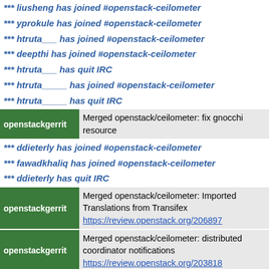*** liusheng has joined #openstack-ceilometer
*** yprokule has joined #openstack-ceilometer
*** htruta___ has joined #openstack-ceilometer
*** deepthi has joined #openstack-ceilometer
*** htruta___ has quit IRC
*** htruta_____ has joined #openstack-ceilometer
*** htruta_____ has quit IRC
openstackgerrit Merged openstack/ceilometer: fix gnocchi resource
*** ddieterly has joined #openstack-ceilometer
*** fawadkhaliq has joined #openstack-ceilometer
*** ddieterly has quit IRC
openstackgerrit Merged openstack/ceilometer: Imported Translations from Transifex https://review.openstack.org/206897
openstackgerrit Merged openstack/ceilometer: distributed coordinator notifications https://review.openstack.org/203818
*** jaosorior has joined #openstack-ceilometer
*** ig0r_ has joined #openstack-ceilometer
*** jruano has quit IRC
openstackgerrit Rohit Jaiswal proposed openstack/python-ceilomete v3 https://review.openstack.org/207724
*** jwcroppe has quit IRC
*** ddieterly has joined #openstack-ceilometer